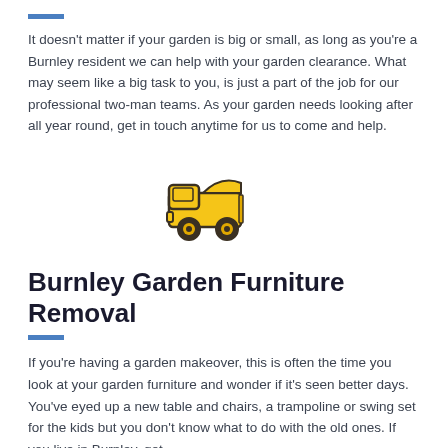It doesn't matter if your garden is big or small, as long as you're a Burnley resident we can help with your garden clearance. What may seem like a big task to you, is just a part of the job for our professional two-man teams. As your garden needs looking after all year round, get in touch anytime for us to come and help.
[Figure (illustration): Yellow dump truck icon with dark outline, cartoon style, centered on white background]
Burnley Garden Furniture Removal
If you're having a garden makeover, this is often the time you look at your garden furniture and wonder if it's seen better days. You've eyed up a new table and chairs, a trampoline or swing set for the kids but you don't know what to do with the old ones. If you live in Burnley, get